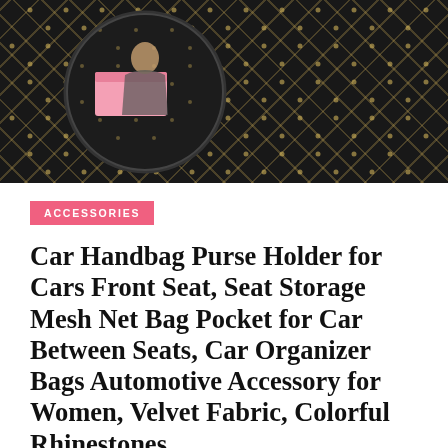[Figure (photo): Product photo showing a rhinestone mesh car seat bag/organizer in dark background with diamond pattern, and a circular inset showing a woman holding a pink box next to the organizer]
ACCESSORIES
Car Handbag Purse Holder for Cars Front Seat, Seat Storage Mesh Net Bag Pocket for Car Between Seats, Car Organizer Bags Automotive Accessory for Women, Velvet Fabric, Colorful Rhinestones
Price: (as of – Details) To calculate the overall star rating and percentage breakdown by star,